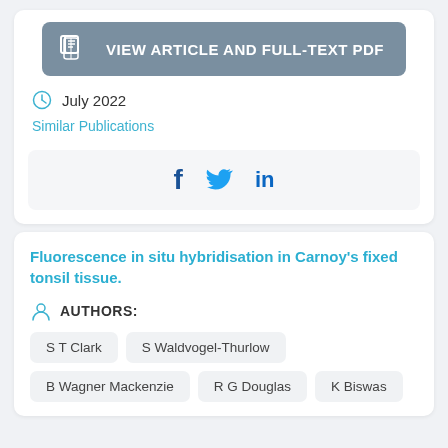[Figure (other): VIEW ARTICLE AND FULL-TEXT PDF button with book icon]
July 2022
Similar Publications
[Figure (other): Social share icons: Facebook, Twitter, LinkedIn]
Fluorescence in situ hybridisation in Carnoy's fixed tonsil tissue.
AUTHORS:
S T Clark
S Waldvogel-Thurlow
B Wagner Mackenzie
R G Douglas
K Biswas